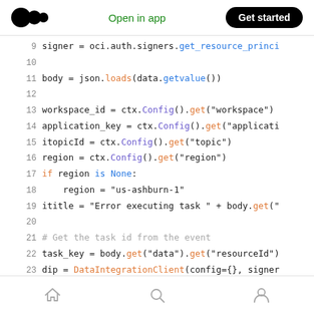Medium app header with logo, Open in app, Get started
[Figure (screenshot): Python code snippet showing lines 9-23 with syntax highlighting]
Bottom navigation bar with home, search, and profile icons